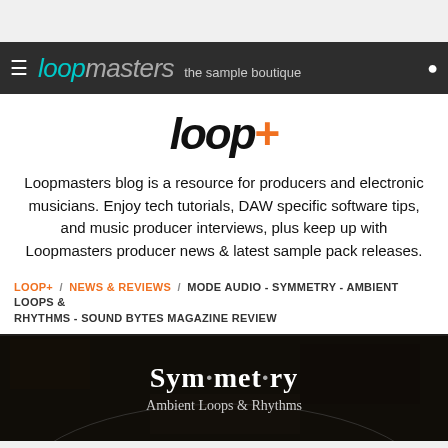Loopmasters – the sample boutique
[Figure (logo): Loop+ logo with 'loop' in black italic and '+' in orange]
Loopmasters blog is a resource for producers and electronic musicians. Enjoy tech tutorials, DAW specific software tips, and music producer interviews, plus keep up with Loopmasters producer news & latest sample pack releases.
LOOP+ / NEWS & REVIEWS / MODE AUDIO - SYMMETRY - AMBIENT LOOPS & RHYTHMS - SOUND BYTES MAGAZINE REVIEW
[Figure (photo): Dark album art background with white text reading 'Sym·met·ry' and subtitle 'Ambient Loops & Rhythms']